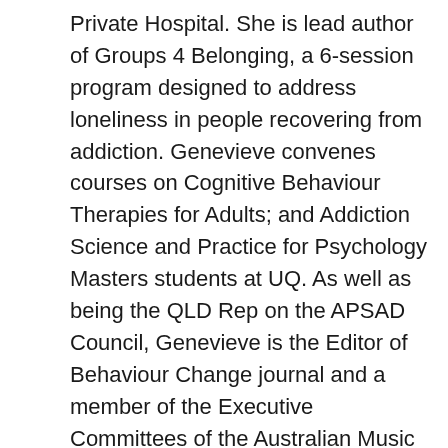Private Hospital. She is lead author of Groups 4 Belonging, a 6-session program designed to address loneliness in people recovering from addiction. Genevieve convenes courses on Cognitive Behaviour Therapies for Adults; and Addiction Science and Practice for Psychology Masters students at UQ. As well as being the QLD Rep on the APSAD Council, Genevieve is the Editor of Behaviour Change journal and a member of the Executive Committees of the Australian Music & Psychology Society and the Arts Health Network QLD. See website for publications: Associate Professor